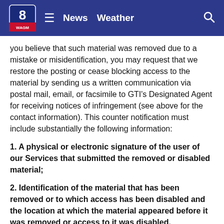News   Weather
you believe that such material was removed due to a mistake or misidentification, you may request that we restore the posting or cease blocking access to the material by sending us a written communication via postal mail, email, or facsimile to GTI’s Designated Agent for receiving notices of infringement (see above for the contact information). This counter notification must include substantially the following information:
1. A physical or electronic signature of the user of our Services that submitted the removed or disabled material;
2. Identification of the material that has been removed or to which access has been disabled and the location at which the material appeared before it was removed or access to it was disabled.